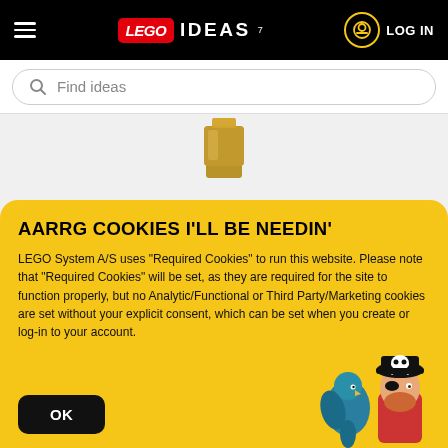LEGO IDEAS — LOG IN — hamburger menu — search Find ideas
CLASSIC BANKER OR NOTARY LAMP
AARRG COOKIES I'LL BE NEEDIN'
LEGO System A/S uses "Required Cookies" to run this website. Please note that "Required Cookies" will be set, as they are required for the site to function properly, but no Analytic/Functional or Third Party/Marketing cookies are set without your explicit consent, which can be set when you create or log-in to your account.
OK